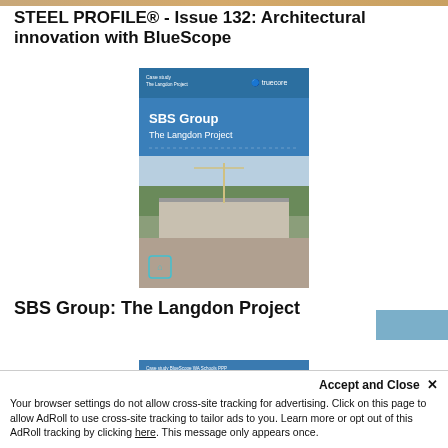STEEL PROFILE® - Issue 132: Architectural innovation with BlueScope
[Figure (illustration): Cover of a case study brochure showing SBS Group – The Langdon Project. Blue sky header with BlueScope/TRUECORE logos, text 'SBS Group The Langdon Project', aerial photo of a large construction site with cranes.]
SBS Group: The Langdon Project
[Figure (illustration): Cover of another brochure showing 'TRUECORE® steel delivers for WA Schools PPP Project' with a construction site aerial photo.]
Accept and Close ✕
Your browser settings do not allow cross-site tracking for advertising. Click on this page to allow AdRoll to use cross-site tracking to tailor ads to you. Learn more or opt out of this AdRoll tracking by clicking here. This message only appears once.